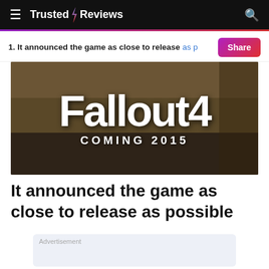Trusted Reviews
1. It announced the game as close to release as p
[Figure (photo): Fallout 4 Coming 2015 logo/promotional image with stylized white text on a dark background showing industrial/post-apocalyptic scenery]
It announced the game as close to release as possible
Advertisement